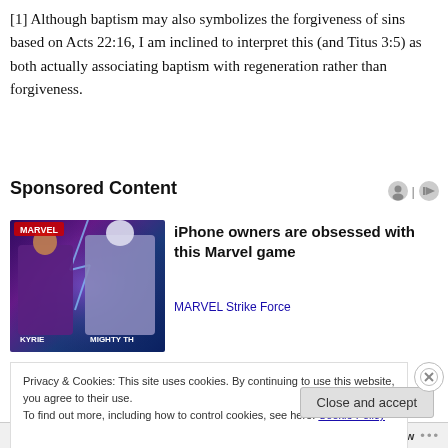[1] Although baptism may also symbolize the forgiveness of sins based on Acts 22:16, I am inclined to interpret this (and Titus 3:5) as both actually associating baptism with regeneration rather than forgiveness.
Sponsored Content
[Figure (photo): Advertisement image showing Marvel Strike Force game characters including Kyrie and Mighty Thor against a purple/blue cosmic background]
iPhone owners are obsessed with this Marvel game
MARVEL Strike Force
Privacy & Cookies: This site uses cookies. By continuing to use this website, you agree to their use.
To find out more, including how to control cookies, see here: Cookie Policy
Close and accept